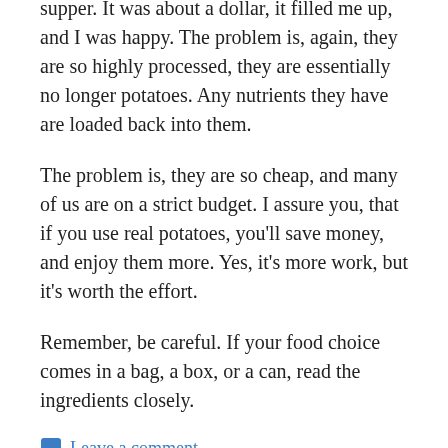supper. It was about a dollar, it filled me up, and I was happy. The problem is, again, they are so highly processed, they are essentially no longer potatoes. Any nutrients they have are loaded back into them.
The problem is, they are so cheap, and many of us are on a strict budget. I assure you, that if you use real potatoes, you'll save money, and enjoy them more. Yes, it's more work, but it's worth the effort.
Remember, be careful. If your food choice comes in a bag, a box, or a can, read the ingredients closely.
Leave a comment